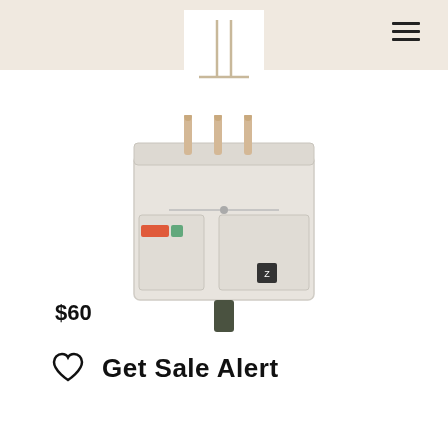[Figure (logo): Brand logo with two vertical lines and a horizontal bar forming a T/L shape, on white background, displayed over a beige header bar]
[Figure (photo): A white canvas tool roll or organizer bag with multiple pockets, small colorful patch labels on left side, a small square logo patch on front, wooden dowels sticking up from the top, and an olive/dark green strap hanging from the bottom, photographed on white background]
$60
Get Sale Alert